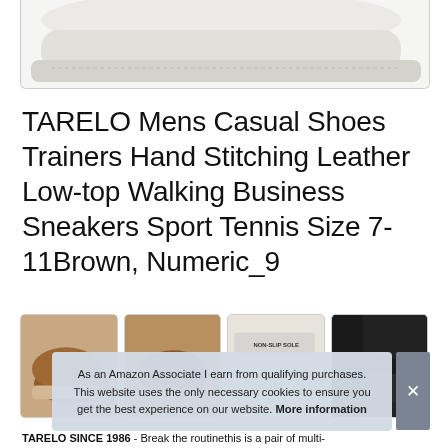[Figure (photo): Partial view of a white/cream sneaker shoe, showing the toe and midsole area from above, against a white background inside a rounded border container.]
TARELO Mens Casual Shoes Trainers Hand Stitching Leather Low-top Walking Business Sneakers Sport Tennis Size 7-11Brown, Numeric_9
[Figure (photo): Row of four product thumbnail images: brown sneaker from side angle, brown sneaker from another angle, infographic showing NON-SLIP SOLE text, and dark close-up of shoe on foot.]
As an Amazon Associate I earn from qualifying purchases. This website uses the only necessary cookies to ensure you get the best experience on our website. More information
TARELO SINCE 1986 - Break the routinethis is a pair of multi-